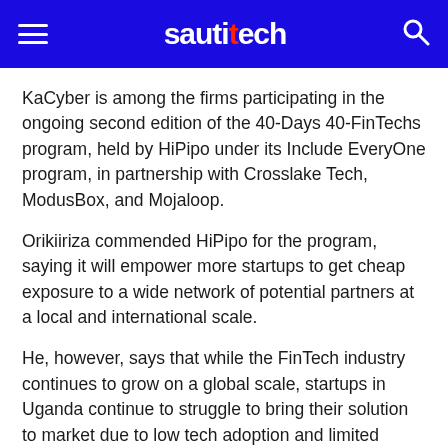sauti tech
KaCyber is among the firms participating in the ongoing second edition of the 40-Days 40-FinTechs program, held by HiPipo under its Include EveryOne program, in partnership with Crosslake Tech, ModusBox, and Mojaloop.
Orikiiriza commended HiPipo for the program, saying it will empower more startups to get cheap exposure to a wide network of potential partners at a local and international scale.
He, however, says that while the FinTech industry continues to grow on a global scale, startups in Uganda continue to struggle to bring their solution to market due to low tech adoption and limited resources to break through these barriers.